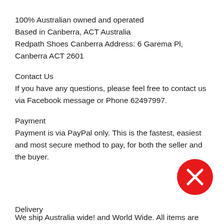100% Australian owned and operated
Based in Canberra, ACT Australia
Redpath Shoes Canberra Address: 6 Garema Pl, Canberra ACT 2601
Contact Us
If you have any questions, please feel free to contact us via Facebook message or Phone 62497997.
Payment
Payment is via PayPal only. This is the fastest, easiest and most secure method to pay, for both the seller and the buyer.
Delivery
We ship Australia wide! and World Wide. All items are